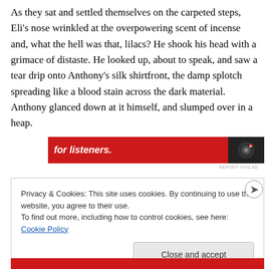As they sat and settled themselves on the carpeted steps, Eli's nose wrinkled at the overpowering scent of incense and, what the hell was that, lilacs? He shook his head with a grimace of distaste. He looked up, about to speak, and saw a tear drip onto Anthony's silk shirtfront, the damp splotch spreading like a blood stain across the dark material. Anthony glanced down at it himself, and slumped over in a heap.
[Figure (screenshot): Red advertisement banner with italic white text 'for listeners.' and a dark device image on the right side]
REPORT THIS AD
Privacy & Cookies: This site uses cookies. By continuing to use this website, you agree to their use.
To find out more, including how to control cookies, see here: Cookie Policy
Close and accept